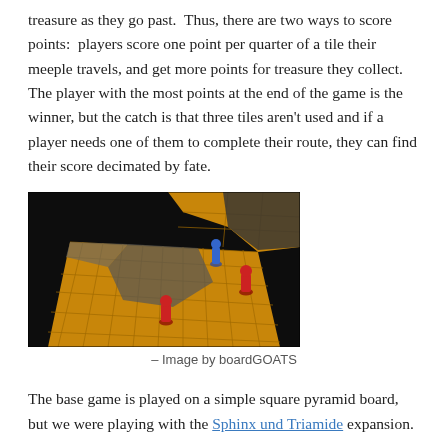treasure as they go past. Thus, there are two ways to score points: players score one point per quarter of a tile their meeple travels, and get more points for treasure they collect. The player with the most points at the end of the game is the winner, but the catch is that three tiles aren't used and if a player needs one of them to complete their route, they can find their score decimated by fate.
[Figure (photo): A photograph of a board game in play, showing golden/yellow tiles arranged in a pyramid-like pattern on a dark background with blue and red meeple pieces.]
– Image by boardGOATS
The base game is played on a simple square pyramid board, but we were playing with the Sphinx und Triamide expansion.